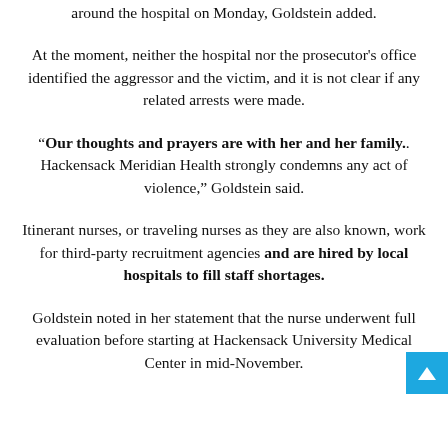around the hospital on Monday, Goldstein added.
At the moment, neither the hospital nor the prosecutor's office identified the aggressor and the victim, and it is not clear if any related arrests were made.
“Our thoughts and prayers are with her and her family.. Hackensack Meridian Health strongly condemns any act of violence,” Goldstein said.
Itinerant nurses, or traveling nurses as they are also known, work for third-party recruitment agencies and are hired by local hospitals to fill staff shortages.
Goldstein noted in her statement that the nurse underwent full evaluation before starting at Hackensack University Medical Center in mid-November.